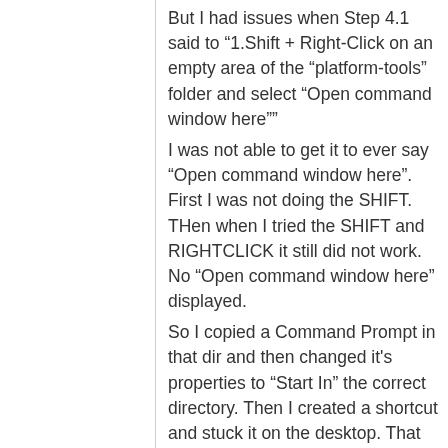But I had issues when Step 4.1 said to “1.Shift + Right-Click on an empty area of the “platform-tools” folder and select “Open command window here””
I was not able to get it to ever say “Open command window here”. First I was not doing the SHIFT. THen when I tried the SHIFT and RIGHTCLICK it still did not work. No “Open command window here” displayed.
So I copied a Command Prompt in that dir and then changed it's properties to “Start In” the correct directory. Then I created a shortcut and stuck it on the desktop. That fixed it.
Then I found that the Shift Rightclick does give you the option to Open a command window. You just have to do it exactly right. You have to be careful not to have anything Highlighted first or Shift Rightclick will not show that option!
Windows!!!!!! just a bit to sensitive.
Then I ran the adb push and it worked!
Thanks for your help this will make things go more